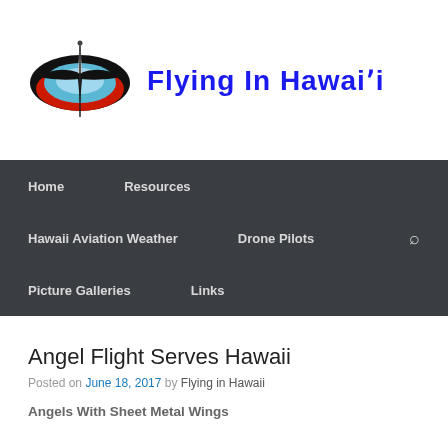[Figure (logo): Flying in Hawaii website logo: stylized bird/frigatebird eye graphic in black, red, and cyan/blue tones, with a vertical pin/needle through center.]
Flying in Hawai'i
Home  Resources  Hawaii Aviation Weather  Drone Pilots  Picture Galleries  Links
Angel Flight Serves Hawaii
Posted on June 18, 2017 by Flying in Hawaii
Angels With Sheet Metal Wings